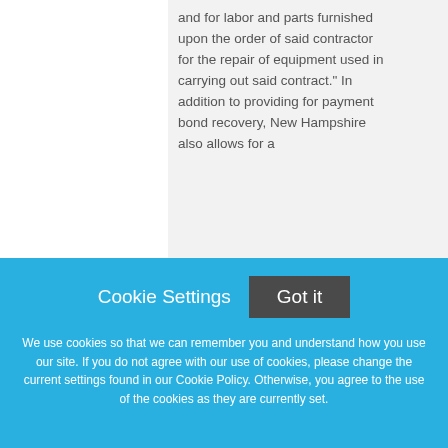and for labor and parts furnished upon the order of said contractor for the repair of equipment used in carrying out said contract." In addition to providing for payment bond recovery, New Hampshire also allows for a
Cookie Settings   Got it
We use cookies so that we can remember you and understand how you use our site. If you do not agree with our use of cookies, please change the current settings found in our Cookie Policy. Otherwise, you agree to the use of the cookies as they are currently set.